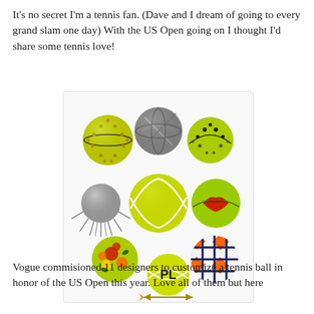It's no secret I'm a tennis fan. (Dave and I dream of going to every grand slam one day) With the US Open going on I thought I'd share some tennis love!
[Figure (photo): Collection of 8 decorated tennis balls arranged in a grid-like pattern on a white background. Balls include: a yellow-green ball with gold studs, a grey marble ball, a yellow-green ball with rhinestones, a silver spiky ball, a standard yellow-green tennis ball, a yellow-green ball with red lips design, a ball decorated with colorful flowers, a monogrammed tennis ball with 'PL' and a gold arrow, and an orange/navy geometric patterned ball.]
Vogue commisioned 11 designers to customize a tennis ball in honor of the US Open this year. Love all of them but here